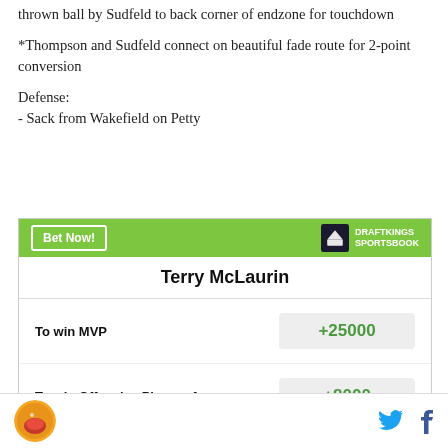thrown ball by Sudfeld to back corner of endzone for touchdown
*Thompson and Sudfeld connect on beautiful fade route for 2-point conversion
Defense:
- Sack from Wakefield on Petty
|  |  |
| --- | --- |
| Terry McLaurin |  |
| To win MVP | +25000 |
| To win Offensive Player of | +8000 |